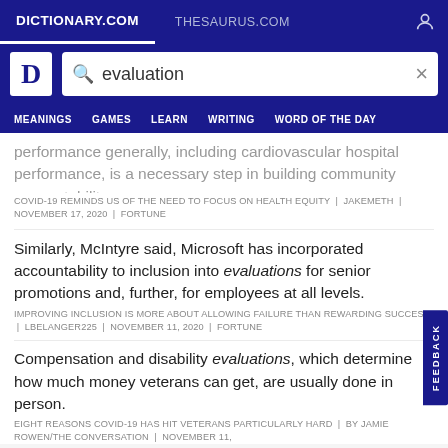DICTIONARY.COM | THESAURUS.COM
evaluation
MEANINGS  GAMES  LEARN  WRITING  WORD OF THE DAY
performance generally, including cardiovascular hospital performance, is a necessary step in building community accountability.
COVID-19 REMINDS US OF THE NEED TO FOCUS ON HEALTH EQUITY | JAKEMETH | NOVEMBER 17, 2020 | FORTUNE
Similarly, McIntyre said, Microsoft has incorporated accountability to inclusion into evaluations for senior promotions and, further, for employees at all levels.
IMPROVING INCLUSION IS MORE ABOUT ALLOWING FAILURE THAN REWARDING SUCCESS | LBELANGER225 | NOVEMBER 11, 2020 | FORTUNE
Compensation and disability evaluations, which determine how much money veterans can get, are usually done in person.
EIGHT REASONS COVID-19 HAS HIT VETERANS PARTICULARLY HARD | BY JAMIE ROWEN/THE CONVERSATION | NOVEMBER 11,